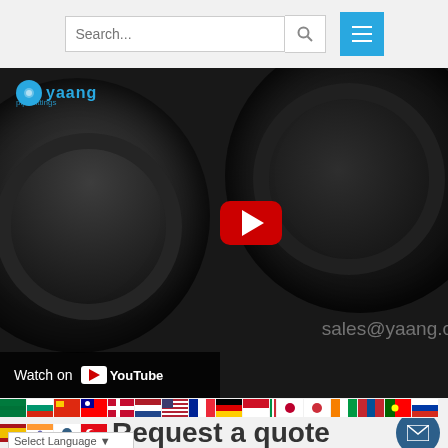[Figure (screenshot): Website header with search bar and hamburger menu button in blue]
[Figure (screenshot): YouTube embedded video showing dark industrial/mechanical parts (rings/discs), with Yaang logo top left, play button overlay, Watch on YouTube bar at bottom left, sales@yaang.c email visible bottom right]
[Figure (screenshot): Row of country flag icons for language selection]
Request a quote
Select Language